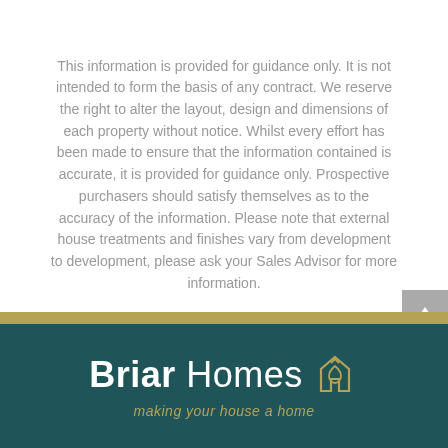This information is provided for guidance only. It is not intended to form the basis of any contract. We reserve the right to alter the layout, design and dimensions of each property without notice. Whilst every effort has been made to ensure that the information contained is accurate, it is provided for guidance only. Prospective purchasers should satisfy themselves as to the accuracy of the information. Please note that external house treatments and finishes vary from development to development, please ask your Sales Advisor for more information.
[Figure (logo): Briar Homes logo with golden house/leaf icon, white text on dark teal background, with tagline 'making your house a home' in gold italic]